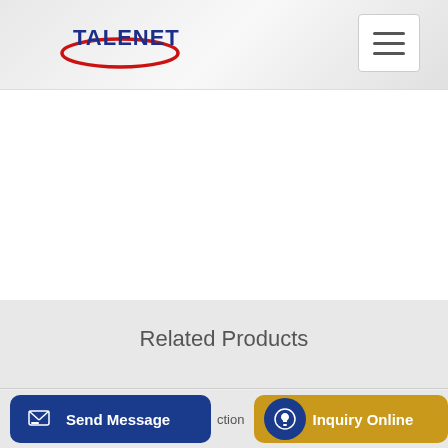TALENET
Related Products
Concrete Pumps Market Advancing the Growth Globally by Alliance
MAN TGS 35 440 concrete mixer truck for sale used MAN
Send Message
ction
Inquiry Online